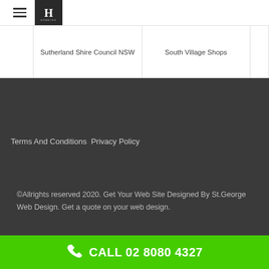Hometek
Sutherland Shire Council NSW
South Village Shops
Terms And Conditions  Privacy Policy
©Allrights reserved 2020. Get Your Web Site Designed By St.George Web Design. Get a quote on your web design.
CALL 02 8080 4327